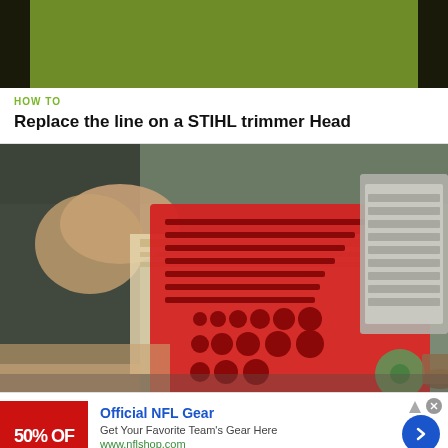[Figure (photo): Partial top-of-page image showing green grass/foliage with dark edges on left and right]
HOW TO
Replace the line on a STIHL trimmer Head
[Figure (photo): A workspace with a red tool organizer/wrench holder on newspapers and a laptop keyboard visible to the right, with a hand partially visible]
[Figure (other): Advertisement: Official NFL Gear - Get Your Favorite Team's Gear Here - www.nflshop.com - 50% OFF banner image]